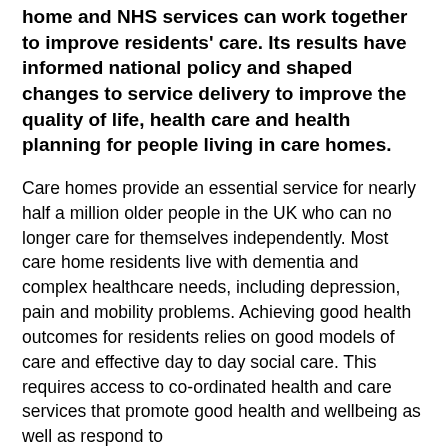home and NHS services can work together to improve residents' care. Its results have informed national policy and shaped changes to service delivery to improve the quality of life, health care and health planning for people living in care homes.
Care homes provide an essential service for nearly half a million older people in the UK who can no longer care for themselves independently. Most care home residents live with dementia and complex healthcare needs, including depression, pain and mobility problems. Achieving good health outcomes for residents relies on good models of care and effective day to day social care. This requires access to co-ordinated health and care services that promote good health and wellbeing as well as respond to